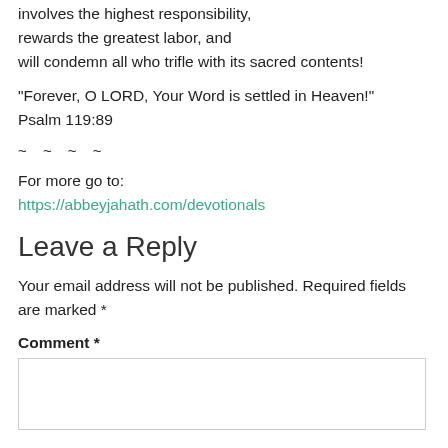involves the highest responsibility, rewards the greatest labor, and will condemn all who trifle with its sacred contents!
“Forever, O LORD, Your Word is settled in Heaven!” Psalm 119:89
~ ~ ~ ~
For more go to: https://abbeyjahath.com/devotionals
Leave a Reply
Your email address will not be published. Required fields are marked *
Comment *